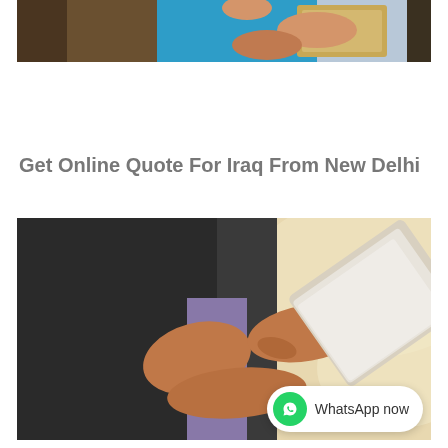[Figure (photo): Photo of a delivery person in blue uniform holding packages]
Get Online Quote For Iraq From New Delhi
[Figure (photo): Close-up photo of hands using a tablet device]
WhatsApp now